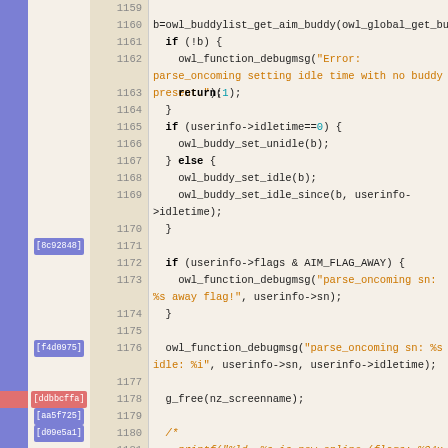[Figure (screenshot): Source code viewer showing C code lines 1159-1184 with line numbers, diff/blame gutter labels, and syntax highlighting. Functions include owl_buddylist_get_aim_buddy, owl_function_debugmsg, owl_buddy_set_unidle, owl_buddy_set_idle, owl_buddy_set_idle_since, g_free, and a commented-out printf statement.]